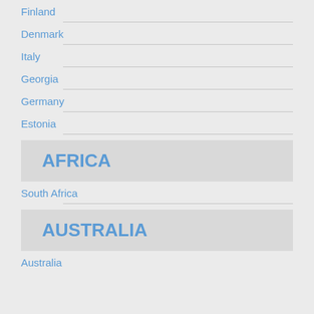Finland
Denmark
Italy
Georgia
Germany
Estonia
AFRICA
South Africa
AUSTRALIA
Australia